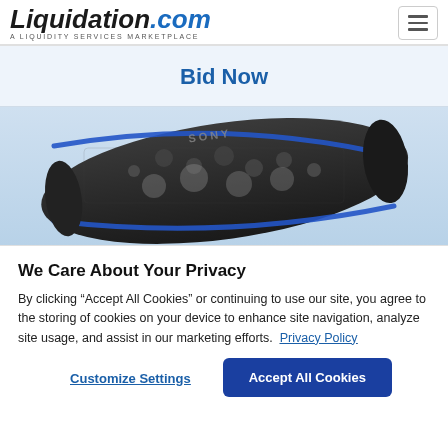Liquidation.com — A LIQUIDITY SERVICES MARKETPLACE
Bid Now
[Figure (photo): Sony portable Bluetooth speaker, black with blue accent trim, angled view showing mesh grille and EXTRA BASS branding]
We Care About Your Privacy
By clicking “Accept All Cookies” or continuing to use our site, you agree to the storing of cookies on your device to enhance site navigation, analyze site usage, and assist in our marketing efforts.  Privacy Policy
Customize Settings
Accept All Cookies